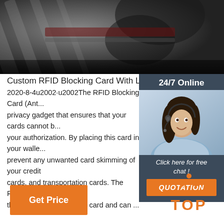[Figure (photo): Top banner photo showing dark/metallic background, likely a card skimming device or RFID card imagery]
Custom RFID Blocking Card With Logo - Spy-Fy
2020-8-4u2002·u2002The RFID Blocking Card (Ant...privacy gadget that ensures that your cards cannot be read without your authorization. By placing this card in your walle...prevent any unwanted card skimming of your credit cards, and transportation cards. The RFID Blocking...the same size as a credit card and can ...
[Figure (infographic): Right sidebar chat widget with dark blue/slate background, showing '24/7 Online' header, photo of female customer service agent with headset, 'Click here for free chat!' text, and orange QUOTATION button]
Get Price
[Figure (logo): Orange TOP logo with dots arranged in triangle shape above the word TOP in orange bold letters]